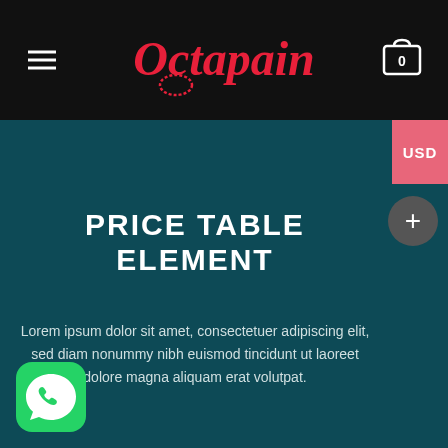Octapain — navigation header with hamburger menu and shopping cart
PRICE TABLE ELEMENT
Lorem ipsum dolor sit amet, consectetuer adipiscing elit, sed diam nonummy nibh euismod tincidunt ut laoreet dolore magna aliquam erat volutpat.
[Figure (logo): WhatsApp icon — green rounded square with white phone handset in speech bubble]